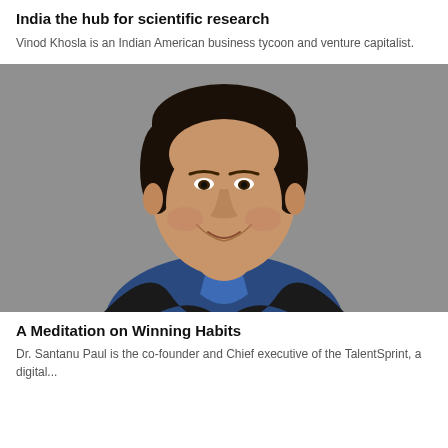India the hub for scientific research
Vinod Khosla is an Indian American business tycoon and venture capitalist.
[Figure (photo): Portrait photo of a middle-aged man with dark hair, wearing a blue shirt under a black blazer, against a grey background. The man is smiling slightly.]
A Meditation on Winning Habits
Dr. Santanu Paul is the co-founder and Chief executive of the TalentSprint, a digital...